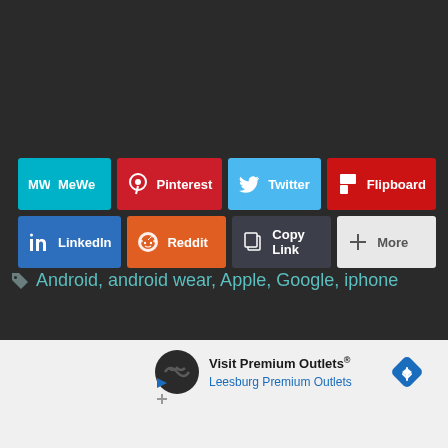[Figure (screenshot): Social media share buttons in two rows: MeWe (teal), Pinterest (dark red), Twitter (light blue), Flipboard (red) on top row; LinkedIn (blue), Reddit (orange), Copy Link (dark gray), More (light gray) on bottom row]
Android, android wear, Apple, Google, iphone
[Figure (screenshot): Advertisement for Visit Premium Outlets / Leesburg Premium Outlets with logo, map background, and navigation arrow icon]